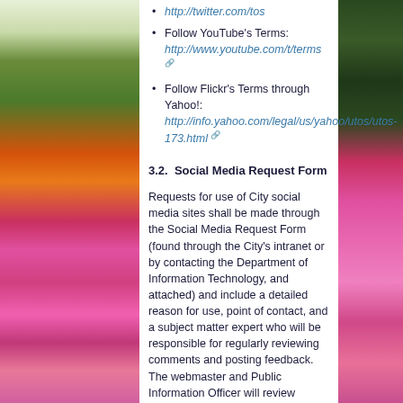http://twitter.com/tos
Follow YouTube's Terms: http://www.youtube.com/t/terms
Follow Flickr's Terms through Yahoo!: http://info.yahoo.com/legal/us/yahoo/utos/utos-173.html
3.2.  Social Media Request Form
Requests for use of City social media sites shall be made through the Social Media Request Form (found through the City's intranet or by contacting the Department of Information Technology, and attached) and include a detailed reason for use, point of contact, and a subject matter expert who will be responsible for regularly reviewing comments and posting feedback.  The webmaster and Public Information Officer will review requests to use social media outlets and help departments reach their stated goals by assisting in developing appropriate uses for social media, selecting the